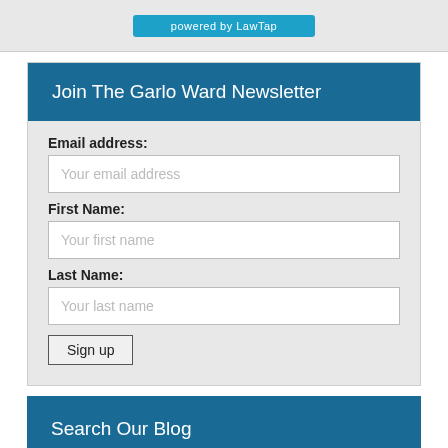[Figure (screenshot): Top section with light blue 'powered by LawTap' Twitter-style button on gray background]
Join The Garlo Ward Newsletter
Email address:
Your email address
First Name:
Your first name
Last Name:
Your last name
Sign up
Search Our Blog